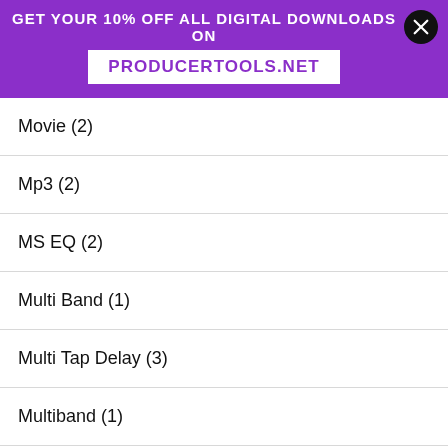GET YOUR 10% OFF ALL DIGITAL DOWNLOADS ON PRODUCERTOOLS.NET
Movie (2)
Mp3 (2)
MS EQ (2)
Multi Band (1)
Multi Tap Delay (3)
Multiband (1)
Neuronal Synthesizer (1)
Noise Generator (5)
Online (3)